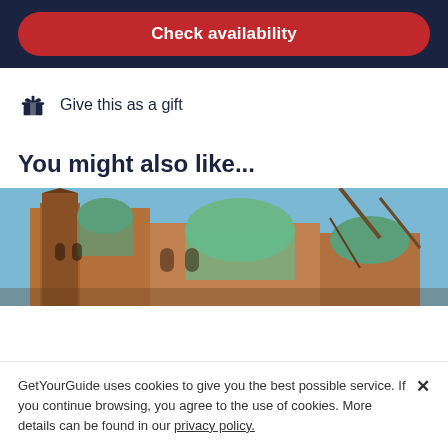Check availability
Give this as a gift
You might also like...
[Figure (photo): Exterior view of a Gothic-style brick church with green copper roof domes and a tall tower, photographed against a blue sky.]
GetYourGuide uses cookies to give you the best possible service. If you continue browsing, you agree to the use of cookies. More details can be found in our privacy policy.